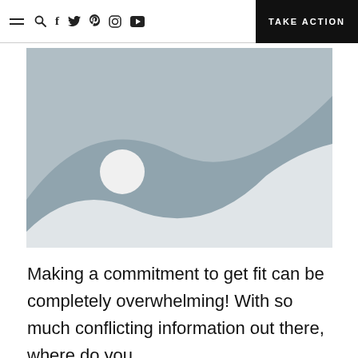≡ 🔍 f 𝕏 𝗣 ⊙ ▶  TAKE ACTION
[Figure (illustration): Placeholder image with grey background showing silhouette of mountains/hills and a white circle representing the sun or moon.]
Making a commitment to get fit can be completely overwhelming! With so much conflicting information out there, where do you